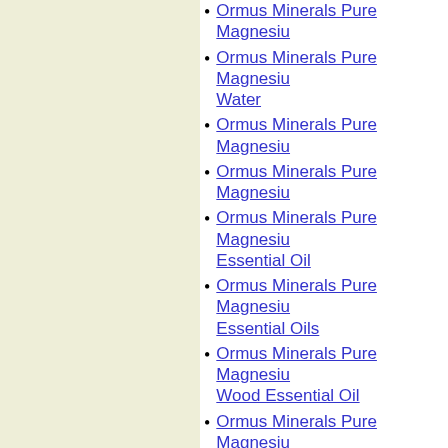Ormus Minerals Pure Magnesiu...
Ormus Minerals Pure Magnesiu... Water
Ormus Minerals Pure Magnesiu...
Ormus Minerals Pure Magnesiu...
Ormus Minerals Pure Magnesiu... Essential Oil
Ormus Minerals Pure Magnesiu... Essential Oils
Ormus Minerals Pure Magnesiu... Wood Essential Oil
Ormus Minerals Pure Magnesiu...
Ormus Minerals Pure Magnesiu...
Ormus Minerals Pure Magnesiu...
Ormus Minerals Pure Magnesiu... Essential Oil
Ormus Minerals Pure Magnesiu... Oil
Ormus Rich Fulvic Acid Minera...
Ormus Minerals Pure Magnesiu... Oil
Ormus Proteine Skin Care...